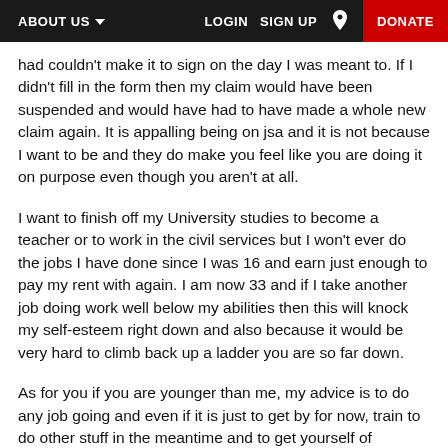ABOUT US  LOGIN  SIGN UP  [location icon]  DONATE
had couldn't make it to sign on the day I was meant to. If I didn't fill in the form then my claim would have been suspended and would have had to have made a whole new claim again. It is appalling being on jsa and it is not because I want to be and they do make you feel like you are doing it on purpose even though you aren't at all.
I want to finish off my University studies to become a teacher or to work in the civil services but I won't ever do the jobs I have done since I was 16 and earn just enough to pay my rent with again. I am now 33 and if I take another job doing work well below my abilities then this will knock my self-esteem right down and also because it would be very hard to climb back up a ladder you are so far down.
As for you if you are younger than me, my advice is to do any job going and even if it is just to get by for now, train to do other stuff in the meantime and to get yourself of benefits as soon as you can as they will eventually force you into something you don't want to do. I am still looking but there are very few jobs out there that are complimentary to my